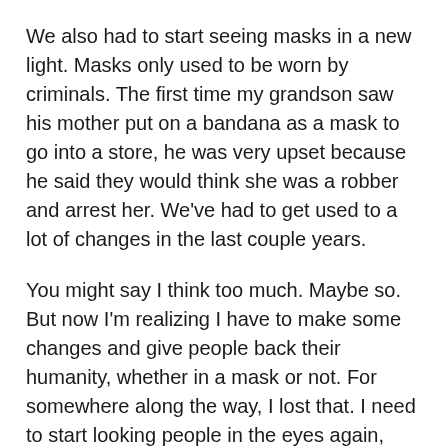We also had to start seeing masks in a new light. Masks only used to be worn by criminals. The first time my grandson saw his mother put on a bandana as a mask to go into a store, he was very upset because he said they would think she was a robber and arrest her. We've had to get used to a lot of changes in the last couple years.
You might say I think too much. Maybe so. But now I'm realizing I have to make some changes and give people back their humanity, whether in a mask or not. For somewhere along the way, I lost that. I need to start looking people in the eyes again, and smiling at them again. I need to start seeing them and acknowledging them as God's prized possession whom He created for a purpose.